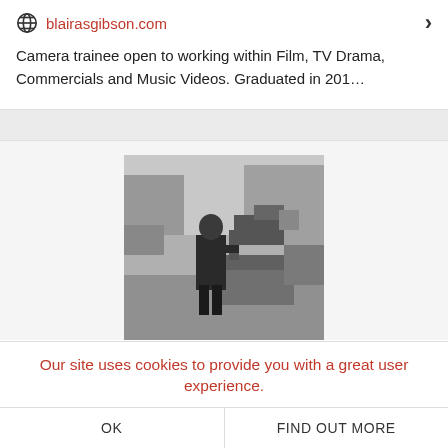blairasgibson.com
Camera trainee open to working within Film, TV Drama, Commercials and Music Videos. Graduated in 201...
[Figure (photo): Black and white photo of a person operating a film camera on an outdoor set with equipment around them.]
Our site uses cookies to provide you with a great user experience.
OK
FIND OUT MORE